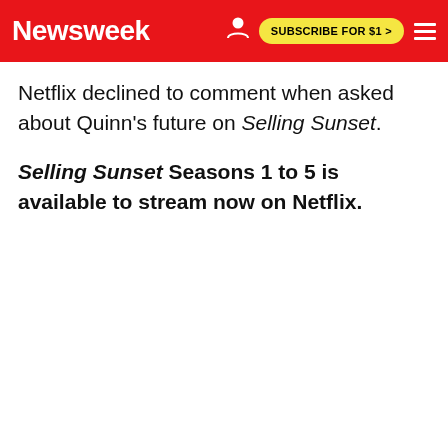Newsweek | SUBSCRIBE FOR $1 >
Netflix declined to comment when asked about Quinn's future on Selling Sunset.
Selling Sunset Seasons 1 to 5 is available to stream now on Netflix.